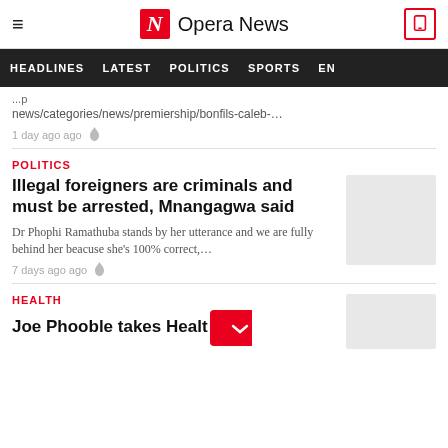Opera News
HEADLINES   LATEST   POLITICS   SPORTS   EN...
news/categories/news/premiership/bonfils-caleb-…
1 day ago ago
POLITICS
Illegal foreigners are criminals and must be arrested, Mnangagwa said
Dr Phophi Ramathuba stands by her utterance and we are fully behind her beacuse she's 100% correct,…
7 days ago ago
HEALTH
Joe Phooble takes Healt... ork...